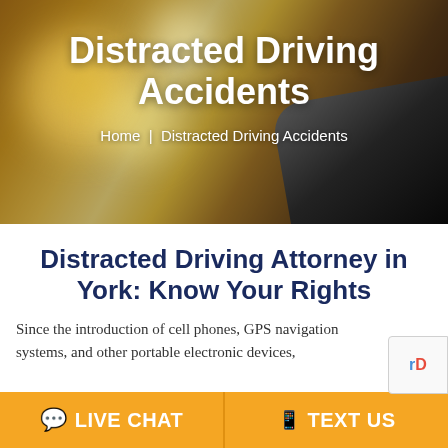[Figure (photo): Hero banner with blurred bokeh background (warm golden/orange tones) and a dark smartphone visible on the right side]
Distracted Driving Accidents
Home  |  Distracted Driving Accidents
Distracted Driving Attorney in York: Know Your Rights
Since the introduction of cell phones, GPS navigation systems, and other portable electronic devices,